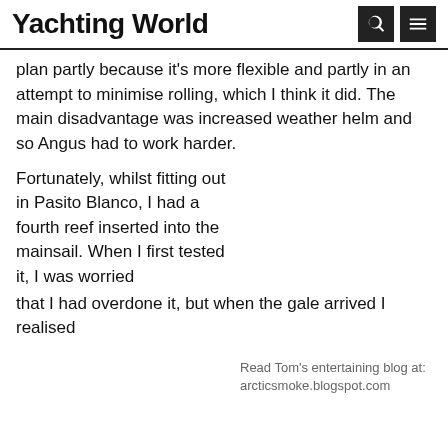Yachting World
plan partly because it's more flexible and partly in an attempt to minimise rolling, which I think it did. The main disadvantage was increased weather helm and so Angus had to work harder.
Fortunately, whilst fitting out in Pasito Blanco, I had a fourth reef inserted into the mainsail. When I first tested it, I was worried that I had overdone it, but when the gale arrived I realised
Read Tom's entertaining blog at: arcticsmoke.blogspot.com